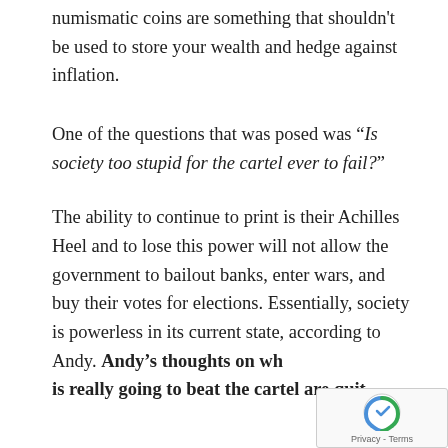numismatic coins are something that shouldn't be used to store your wealth and hedge against inflation.
One of the questions that was posed was "Is society too stupid for the cartel ever to fail?"
The ability to continue to print is their Achilles Heel and to lose this power will not allow the government to bailout banks, enter wars, and buy their votes for elections. Essentially, society is powerless in its current state, according to Andy. Andy's thoughts on wh is really going to beat the cartel are quit—